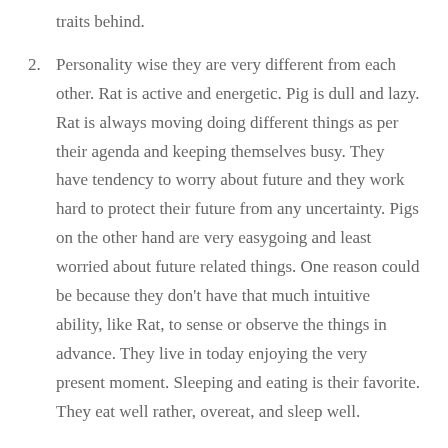traits behind.
Personality wise they are very different from each other. Rat is active and energetic. Pig is dull and lazy. Rat is always moving doing different things as per their agenda and keeping themselves busy. They have tendency to worry about future and they work hard to protect their future from any uncertainty. Pigs on the other hand are very easygoing and least worried about future related things. One reason could be because they don't have that much intuitive ability, like Rat, to sense or observe the things in advance. They live in today enjoying the very present moment. Sleeping and eating is their favorite. They eat well rather, overeat, and sleep well.